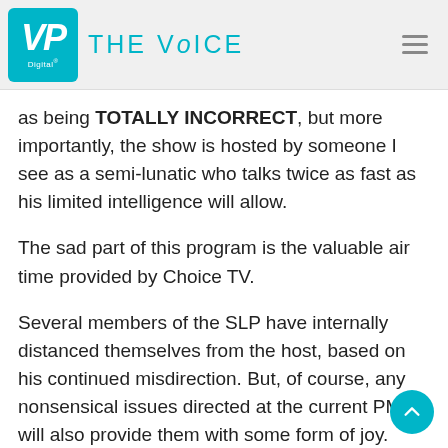VP Digital | THE VOICE
as being TOTALLY INCORRECT, but more importantly, the show is hosted by someone I see as a semi-lunatic who talks twice as fast as his limited intelligence will allow.
The sad part of this program is the valuable air time provided by Choice TV.
Several members of the SLP have internally distanced themselves from the host, based on his continued misdirection. But, of course, any nonsensical issues directed at the current PM will also provide them with some form of joy.